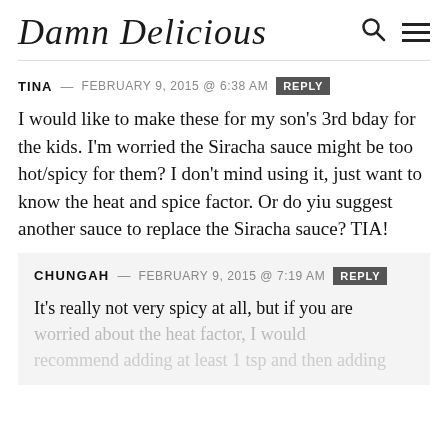Damn Delicious
TINA — FEBRUARY 9, 2015 @ 6:38 AM  REPLY
I would like to make these for my son's 3rd bday for the kids. I'm worried the Siracha sauce might be too hot/spicy for them? I don't mind using it, just want to know the heat and spice factor. Or do yiu suggest another sauce to replace the Siracha sauce? TIA!
CHUNGAH — FEBRUARY 9, 2015 @ 7:19 AM  REPLY
It's really not very spicy at all, but if you are worried about the heat factor, I would recommend adding at least 1 tsp and then adding